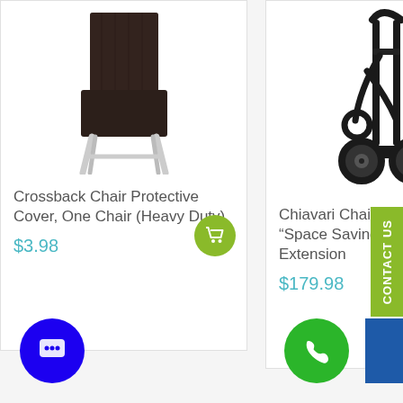[Figure (photo): Crossback chair with dark brown protective cover over seat and back, white metal legs, on white background]
Crossback Chair Protective Cover, One Chair (Heavy Duty)
$3.98
[Figure (photo): Black metal hand truck / stack dolly with retractable extension bar and two wheels, on white background]
Chiavari Chair Stack Dolly with “Space Saving” Retractable Extension
$179.98
CONTACT US